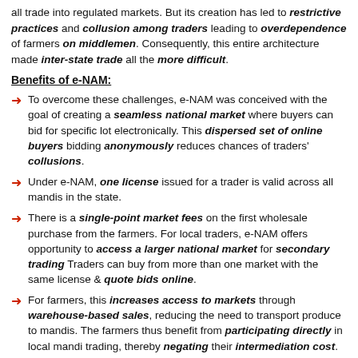all trade into regulated markets. But its creation has led to restrictive practices and collusion among traders leading to overdependence of farmers on middlemen. Consequently, this entire architecture made inter-state trade all the more difficult.
Benefits of e-NAM:
To overcome these challenges, e-NAM was conceived with the goal of creating a seamless national market where buyers can bid for specific lot electronically. This dispersed set of online buyers bidding anonymously reduces chances of traders' collusions.
Under e-NAM, one license issued for a trader is valid across all mandis in the state.
There is a single-point market fees on the first wholesale purchase from the farmers. For local traders, e-NAM offers opportunity to access a larger national market for secondary trading Traders can buy from more than one market with the same license & quote bids online.
For farmers, this increases access to markets through warehouse-based sales, reducing the need to transport produce to mandis. The farmers thus benefit from participating directly in local mandi trading, thereby negating their intermediation cost.
Farmers can now access 24×7 commodity price information, along with advance lot registration facility that reduces waiting time at mandis. Farmers can further view bids placed for their produce with quality assaying parameters.
Key Issues facing e-NAM: